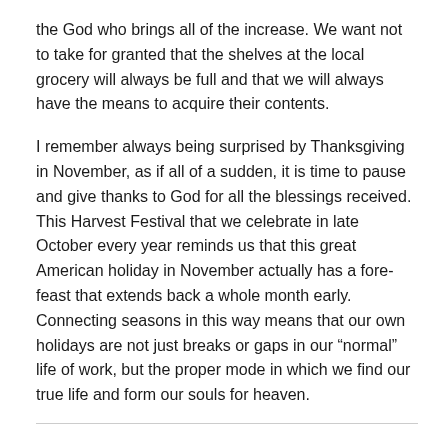the God who brings all of the increase. We want not to take for granted that the shelves at the local grocery will always be full and that we will always have the means to acquire their contents.
I remember always being surprised by Thanksgiving in November, as if all of a sudden, it is time to pause and give thanks to God for all the blessings received. This Harvest Festival that we celebrate in late October every year reminds us that this great American holiday in November actually has a fore-feast that extends back a whole month early. Connecting seasons in this way means that our own holidays are not just breaks or gaps in our “normal” life of work, but the proper mode in which we find our true life and form our souls for heaven.